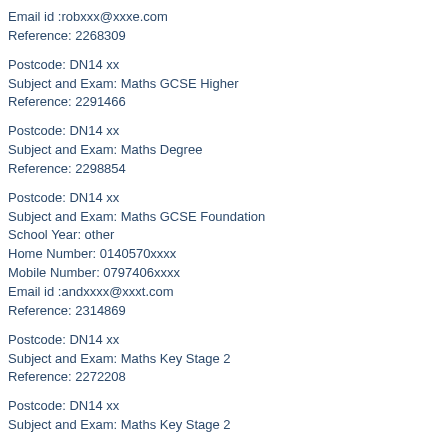Email id :robxxx@xxxe.com
Reference: 2268309
Postcode: DN14 xx
Subject and Exam: Maths GCSE Higher
Reference: 2291466
Postcode: DN14 xx
Subject and Exam: Maths Degree
Reference: 2298854
Postcode: DN14 xx
Subject and Exam: Maths GCSE Foundation
School Year: other
Home Number: 0140570xxxx
Mobile Number: 0797406xxxx
Email id :andxxxx@xxxt.com
Reference: 2314869
Postcode: DN14 xx
Subject and Exam: Maths Key Stage 2
Reference: 2272208
Postcode: DN14 xx
Subject and Exam: Maths Key Stage 2